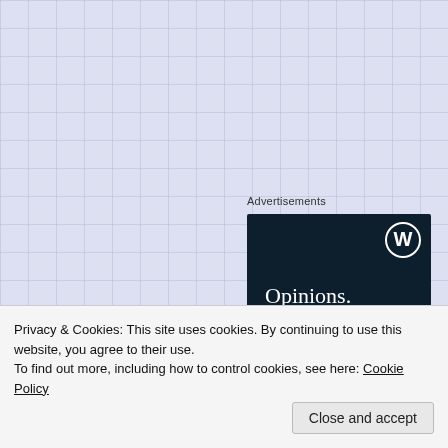Advertisements
[Figure (illustration): WordPress advertisement banner with dark navy background, WordPress logo (W in circle) top right, text 'Opinions.' in serif font and 'We all have them!' in bold sans-serif, white text on dark background.]
read the collected work as it is published: here
Privacy & Cookies: This site uses cookies. By continuing to use this website, you agree to their use.
To find out more, including how to control cookies, see here: Cookie Policy
Close and accept